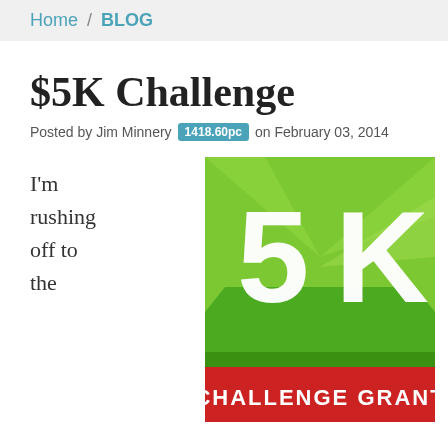Home / BLOG
$5K Challenge
Posted by Jim Minnery 1418.60pc on February 03, 2014
I'm rushing off to the
[Figure (illustration): 5K Challenge Grant logo: green square badge with large white '5K' text and a red banner at the bottom reading 'CHALLENGE GRANT']